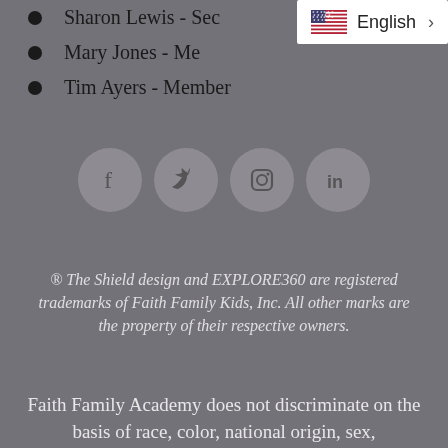Sharon Lewis - Secretary
Mary Jones - Member
Tim Ayers - Member
[Figure (infographic): Four social media icon circles: Facebook, Twitter, Instagram, LinkedIn]
® The Shield design and EXPLORE360 are registered trademarks of Faith Family Kids, Inc. All other marks are the property of their respective owners.
Faith Family Academy does not discriminate on the basis of race, color, national origin, sex,